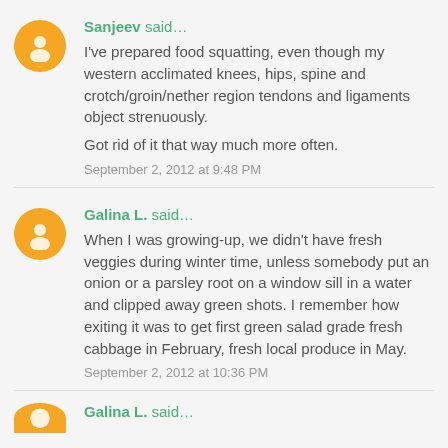Sanjeev said…
I've prepared food squatting, even though my western acclimated knees, hips, spine and crotch/groin/nether region tendons and ligaments object strenuously.
Got rid of it that way much more often.
September 2, 2012 at 9:48 PM
Galina L. said…
When I was growing-up, we didn't have fresh veggies during winter time, unless somebody put an onion or a parsley root on a window sill in a water and clipped away green shots. I remember how exiting it was to get first green salad grade fresh cabbage in February, fresh local produce in May.
September 2, 2012 at 10:36 PM
Galina L. said…